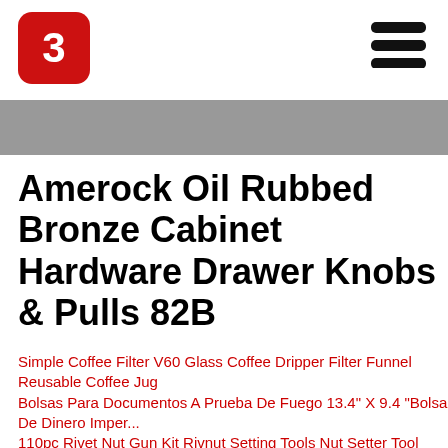Amerock Oil Rubbed Bronze Cabinet Hardware Drawer Knobs & Pulls 82B
Simple Coffee Filter V60 Glass Coffee Dripper Filter Funnel Reusable Coffee Jug
Bolsas Para Documentos A Prueba De Fuego 13.4" X 9.4 "Bolsa De Dinero Imper...
110pc Rivet Nut Gun Kit Rivnut Setting Tools Nut Setter Tool